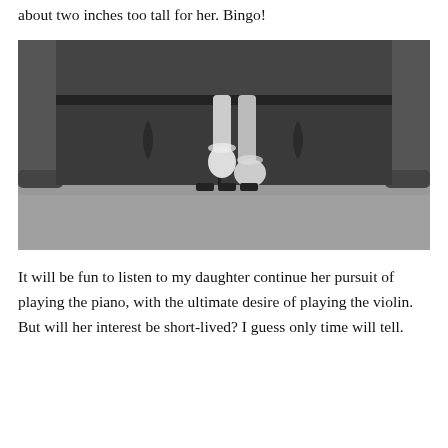about two inches too tall for her. Bingo!
[Figure (photo): Black and white photograph showing the underside of a piano bench, with a child's feet dangling down, wearing socks with lace trim. The piano pedals are visible below.]
It will be fun to listen to my daughter continue her pursuit of playing the piano, with the ultimate desire of playing the violin. But will her interest be short-lived? I guess only time will tell.